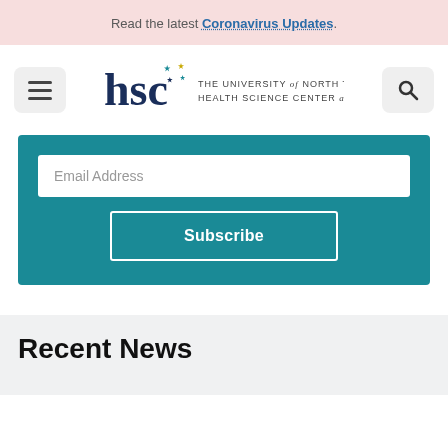Read the latest Coronavirus Updates.
[Figure (logo): HSC - The University of North Texas Health Science Center at Fort Worth logo with hamburger menu and search icon]
Email Address
Subscribe
Recent News